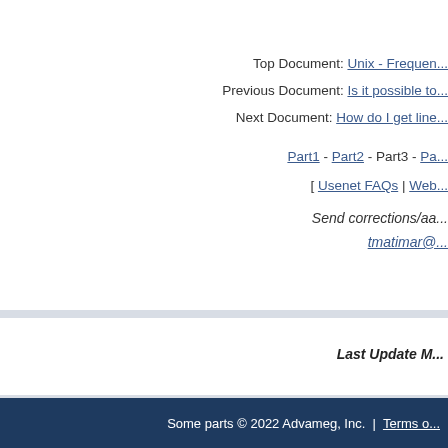Top Document: Unix - Frequen...
Previous Document: Is it possible to...
Next Document: How do I get line...
Part1 - Part2 - Part3 - Pa...
[ Usenet FAQs | Web...
Send corrections/aa... tmatimar@...
Last Update M...
Some parts © 2022 Advameg, Inc. | Terms o...